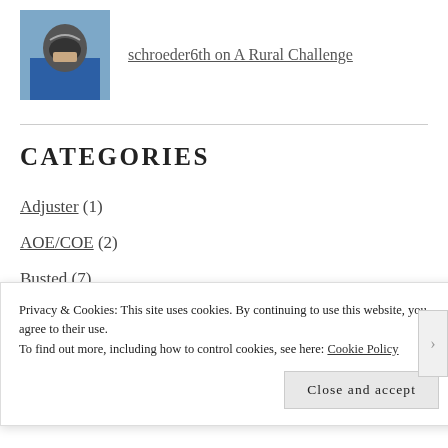[Figure (photo): Avatar photo of a person wearing a helmet and blue jacket]
schroeder6th on A Rural Challenge
CATEGORIES
Adjuster (1)
AOE/COE (2)
Busted (7)
Christmas (1)
Privacy & Cookies: This site uses cookies. By continuing to use this website, you agree to their use.
To find out more, including how to control cookies, see here: Cookie Policy
Close and accept